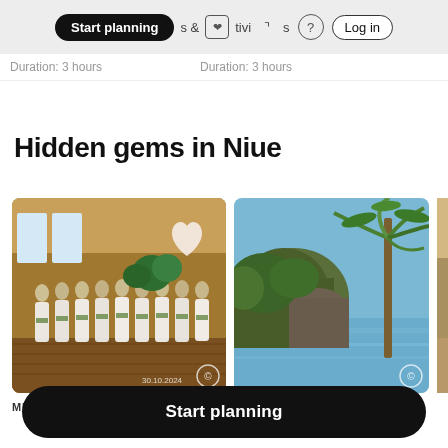Start planning | Activities | ? | Log in
Duration: 3 hours   Duration: 3 hours
Hidden gems in Niue
[Figure (photo): Group of people in white traditional dress standing in a hall, museum setting, with plants and a flag. Date stamp 30.10.2024.]
MUSEUM
[Figure (photo): Coastal nature scene with rocky cliffs, lush green vegetation, calm water, and a palm tree in the foreground.]
NATURE / PARK
[Figure (photo): Partially visible third image, cropped on the right edge.]
Start planning